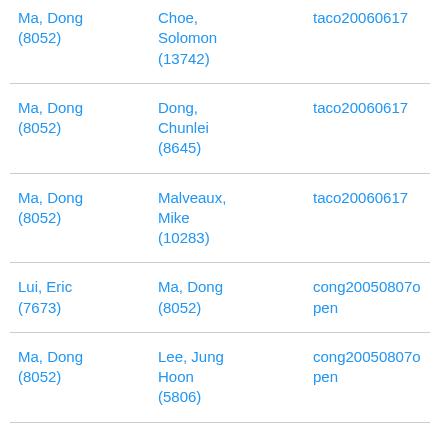| Ma, Dong (8052) | Choe, Solomon (13742) | taco20060617 |
| Ma, Dong (8052) | Dong, Chunlei (8645) | taco20060617 |
| Ma, Dong (8052) | Malveaux, Mike (10283) | taco20060617 |
| Lui, Eric (7673) | Ma, Dong (8052) | cong20050807open |
| Ma, Dong (8052) | Lee, Jung Hoon (5806) | cong20050807open |